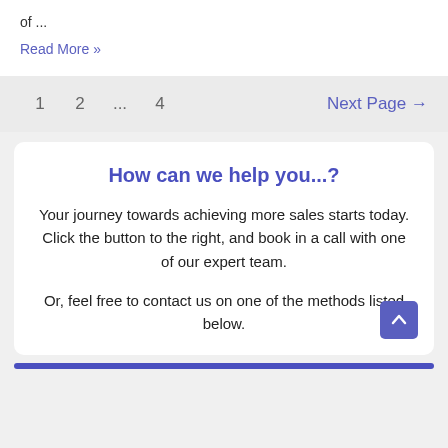of ...
Read More »
1   2   ...   4   Next Page →
How can we help you...?
Your journey towards achieving more sales starts today. Click the button to the right, and book in a call with one of our expert team.
Or, feel free to contact us on one of the methods listed below.